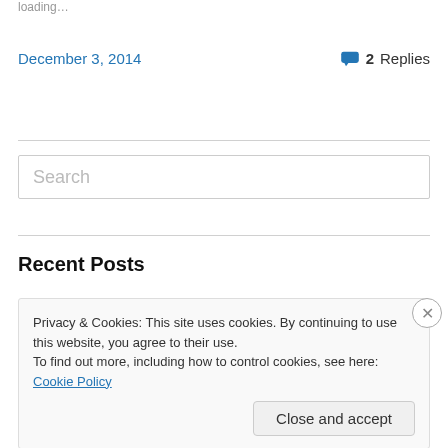loading…
December 3, 2014    💬 2 Replies
Search
Recent Posts
Privacy & Cookies: This site uses cookies. By continuing to use this website, you agree to their use.
To find out more, including how to control cookies, see here: Cookie Policy
Close and accept